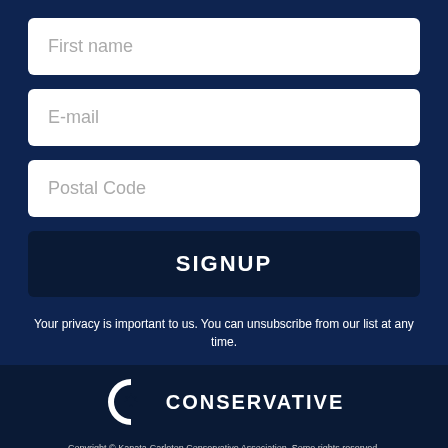First name
E-mail
Postal Code
SIGNUP
Your privacy is important to us. You can unsubscribe from our list at any time.
[Figure (logo): Conservative Party of Canada logo — white letter C with maple leaf, and text CONSERVATIVE]
Copyright © Kanata-Carleton Conservative Association. Some rights reserved. Authorized by the Registered Agent for Kanata-Carleton Conservative Association.